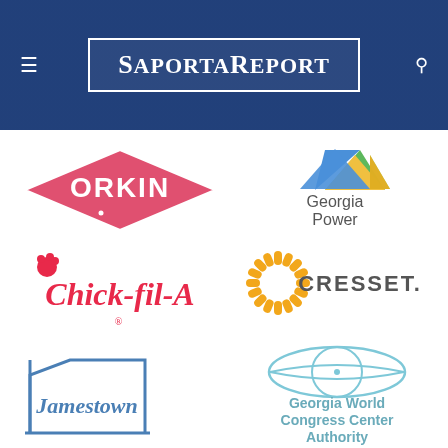SaportaReport
[Figure (logo): Orkin logo – pink/red diamond shape with ORKIN text in white]
[Figure (logo): Georgia Power logo – triangle icon in blue/green/yellow with Georgia Power text]
[Figure (logo): Chick-fil-A logo – stylized script lettering in red]
[Figure (logo): Cresset logo – sunburst/starburst circle in orange/yellow with CRESSET. text]
[Figure (logo): Jamestown logo – blue outlined box/building shape with Jamestown text]
[Figure (logo): Georgia World Congress Center Authority logo – light blue globe/lens shape with text]